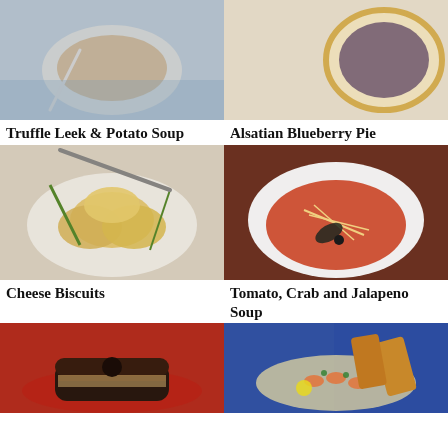[Figure (photo): Truffle Leek & Potato Soup in a bowl with spoon on blue patterned plate]
Truffle Leek & Potato Soup
[Figure (photo): Alsatian Blueberry Pie tart with blueberries on white plate]
Alsatian Blueberry Pie
[Figure (photo): Cheese Biscuits piled on white plate with green onion garnish]
Cheese Biscuits
[Figure (photo): Tomato, Crab and Jalapeno Soup in white bowl with garnish]
Tomato, Crab and Jalapeno Soup
[Figure (photo): Chocolate glazed donut cake on red plate]
[Figure (photo): Shrimp dish with lemon and toast on colorful plate]